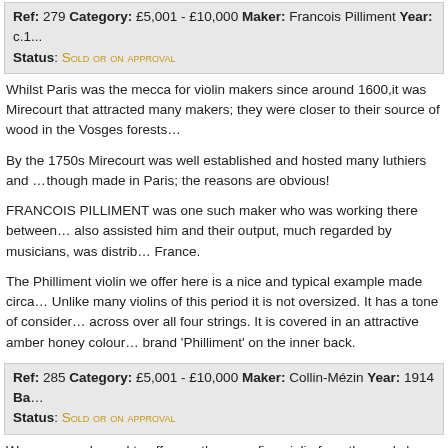Ref: 279 Category: £5,001 - £10,000 Maker: Francois Pilliment Year: c.1... Status: Sold or on approval
Whilst Paris was the mecca for violin makers since around 1600,it was Mirecourt that attracted many makers; they were closer to their source of wood in the Vosges forests...
By the 1750s Mirecourt was well established and hosted many luthiers and ... though made in Paris; the reasons are obvious!
FRANCOIS PILLIMENT was one such maker who was working there between... also assisted him and their output, much regarded by musicians, was distributed throughout France.
The Philliment violin we offer here is a nice and typical example made circa... Unlike many violins of this period it is not oversized. It has a tone of considerable... across over all four strings. It is covered in an attractive amber honey colour... brand 'Philliment' on the inner back.
Ref: 285 Category: £5,001 - £10,000 Maker: Collin-Mézin Year: 1914 Ba... Status: Sold or on approval
We are very pleased to offer another very fine violin from the workshops of J... This instrument created on the Guarneri Del Gesu model is in a mint conditi...